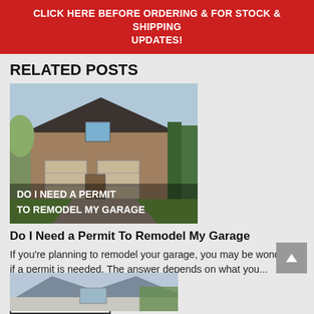CLICK HERE BEFORE ORDERING & FOR STOCK & SHIPPING UPDATES!
RELATED POSTS
[Figure (photo): Photo of a brick suburban house with two-car garage, trees, and lawn. Overlaid text reads: DO I NEED A PERMIT TO REMODEL MY GARAGE]
Do I Need a Permit To Remodel My Garage
If you're planning to remodel your garage, you may be wondering if a permit is needed. The answer depends on what you...
READ MORE
[Figure (photo): Partial photo of a house roofline and exterior at the bottom of the page]